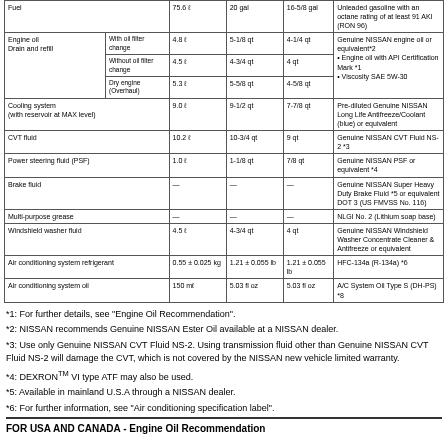| Item |  | Capacity (liters) | Capacity (US measure) | Capacity (imp. measure) | Recommended fluid/lubricant |
| --- | --- | --- | --- | --- | --- |
| Fuel |  | 75.6 ℓ | 20 gal | 16-5/8 gal | Unleaded gasoline with an octane rating of at least 91 AKI (RON 96) |
| Engine oil Drain and refill | With oil filter change | 4.8 ℓ | 5-1/8 qt | 4-1/4 qt | Genuine NISSAN engine oil or equivalent*2
• Engine oil with API Certification Mark *1
• Viscosity SAE 5W-30 |
|  | Without oil filter change | 4.5 ℓ | 4-3/4 qt | 4 qt |  |
|  | Dry engine (Overhaul) | 5.3 ℓ | 5-5/8 qt | 4-5/8 qt |  |
| Cooling system (with reservoir at MAX level) |  | 9.0 ℓ | 9-1/2 qt | 7-7/8 qt | Pre-diluted Genuine NISSAN Long Life Antifreeze/Coolant (blue) or equivalent |
| CVT fluid |  | 10.2 ℓ | 10-3/4 qt | 9 qt | Genuine NISSAN CVT Fluid NS-2 *3 |
| Power steering fluid (PSF) |  | 1.0 ℓ | 1-1/8 qt | 7/8 qt | Genuine NISSAN PSF or equivalent *4 |
| Brake fluid |  | — | — | — | Genuine NISSAN Super Heavy Duty Brake Fluid *5 or equivalent DOT 3 (US FMVSS No. 116) |
| Multi-purpose grease |  | — | — | — | NLGI No. 2 (Lithium soap base) |
| Windshield washer fluid |  | 4.5 ℓ | 4-3/4 qt | 4 qt | Genuine NISSAN Windshield Washer Concentrate Cleaner & Antifreeze or equivalent |
| Air conditioning system refrigerant |  | 0.55 ± 0.025 kg | 1.21 ± 0.055 lb | 1.21 ± 0.055 lb | HFC-134a (R-134a) *6 |
| Air conditioning system oil |  | 150 mℓ | 5.03 fl oz | 5.03 fl oz | A/C System Oil Type S (DH-PS) *8 |
*1: For further details, see "Engine Oil Recommendation".
*2: NISSAN recommends Genuine NISSAN Ester Oil available at a NISSAN dealer.
*3: Use only Genuine NISSAN CVT Fluid NS-2. Using transmission fluid other than Genuine NISSAN CVT Fluid NS-2 will damage the CVT, which is not covered by the NISSAN new vehicle limited warranty.
*4: DEXRONTM VI type ATF may also be used.
*5: Available in mainland U.S.A through a NISSAN dealer.
*6: For further information, see "Air conditioning specification label".
FOR USA AND CANADA - Engine Oil Recommendation